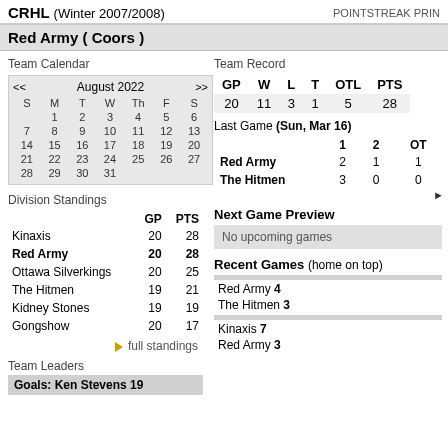CRHL (Winter 2007/2008)   POINTSTREAK PRIN
Red Army ( Coors )
Team Calendar
| S | M | T | W | Th | F | S |
| --- | --- | --- | --- | --- | --- | --- |
|  | 1 | 2 | 3 | 4 | 5 | 6 |
| 7 | 8 | 9 | 10 | 11 | 12 | 13 |
| 14 | 15 | 16 | 17 | 18 | 19 | 20 |
| 21 | 22 | 23 | 24 | 25 | 26 | 27 |
| 28 | 29 | 30 | 31 |  |  |  |
Division Standings
|  | GP | PTS |
| --- | --- | --- |
| Kinaxis | 20 | 28 |
| Red Army | 20 | 28 |
| Ottawa Silverkings | 20 | 25 |
| The Hitmen | 19 | 21 |
| Kidney Stones | 19 | 19 |
| Gongshow | 20 | 17 |
▶ full standings
Team Leaders
Goals: Ken Stevens 19
Team Record
| GP | W | L | T | OTL | PTS |
| --- | --- | --- | --- | --- | --- |
| 20 | 11 | 3 | 1 | 5 | 28 |
Last Game (Sun, Mar 16)
|  | 1 | 2 | OT |
| --- | --- | --- | --- |
| Red Army | 2 | 1 | 1 |
| The Hitmen | 3 | 0 | 0 |
Next Game Preview
No upcoming games
Recent Games (home on top)
Red Army 4
The Hitmen 3
Kinaxis 7
Red Army 3